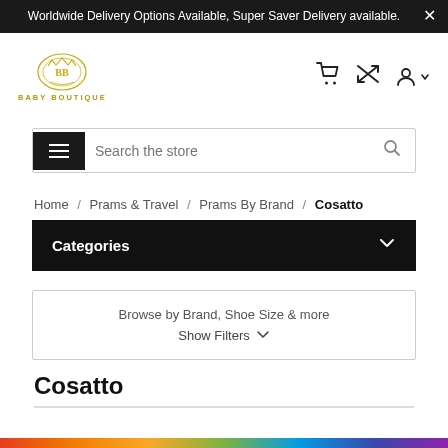Worldwide Delivery Options Available, Super Saver Delivery available.
[Figure (logo): Baby Boutique logo with ornate BB crest and text BABY BOUTIQUE]
Search the store
Home / Prams & Travel / Prams By Brand / Cosatto
Categories
Browse by Brand, Shoe Size & more
Show Filters ∨
Cosatto